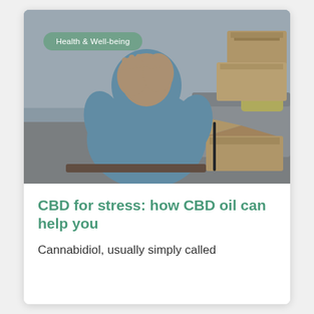[Figure (photo): Person in a blue hoodie covering their face with both hands in a distressed pose, sitting in front of cardboard boxes and a grey sofa, suggesting stress or anxiety]
Health & Well-being
CBD for stress: how CBD oil can help you
Cannabidiol, usually simply called